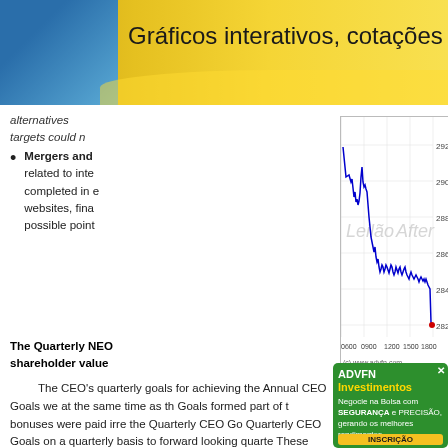Gráficos interativos, cotações e ferram
alternatives targets could r
Mergers and ... related to inte... completed in e... websites, fina... possible point...
[Figure (line-chart): Line chart showing stock price (282-292 range) over trading hours 0600-1800+, with watermark labels 'Leilão' and 'After'. Source: (c) www.advfn.com]
The Quarterly NEO shareholder value
The CEO's quarterly goals for achieving the Annual CEO Goals we... at the same time as th... Goals formed part of t... bonuses were paid irre... the Quarterly CEO Go... Quarterly CEO Goals ... on a quarterly basis to... forward looking quarte... These goals followed ... grow revenue by 62%... quarter of 2021; $301.
[Figure (infographic): ADVFN Investimentos advertisement: 'Negocie na Bolsa com SEGURANÇA e PRECISÃO, gerando os melhores rendimentos.' with INSCRIÇÃO button]